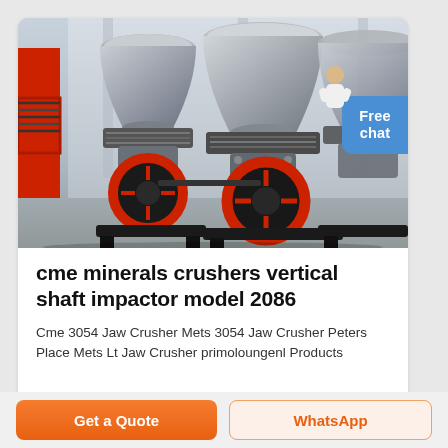[Figure (photo): Industrial cone crusher machines in a warehouse setting. Multiple large grey cone crushers with red flywheel pulleys and spring assemblies, mounted on black steel frames. Red machinery visible on the far left.]
cme minerals crushers vertical shaft impactor model 2086
Cme 3054 Jaw Crusher Mets 3054 Jaw Crusher Peters Place Mets Lt Jaw Crusher primoloungenl Products